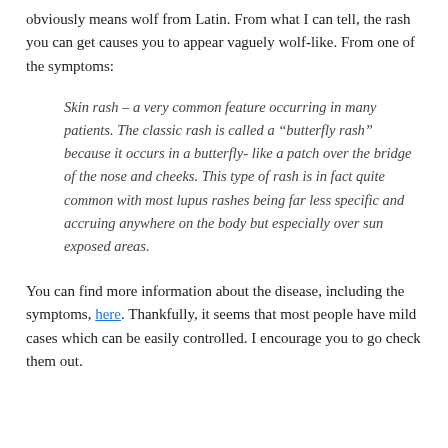obviously means wolf from Latin. From what I can tell, the rash you can get causes you to appear vaguely wolf-like. From one of the symptoms:
Skin rash – a very common feature occurring in many patients. The classic rash is called a “butterfly rash” because it occurs in a butterfly- like a patch over the bridge of the nose and cheeks. This type of rash is in fact quite common with most lupus rashes being far less specific and accruing anywhere on the body but especially over sun exposed areas.
You can find more information about the disease, including the symptoms, here. Thankfully, it seems that most people have mild cases which can be easily controlled. I encourage you to go check them out.